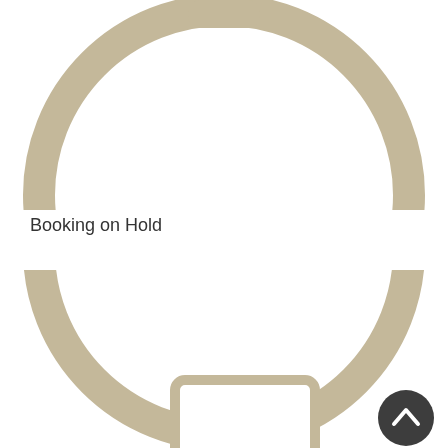[Figure (illustration): Top half: a large tan/beige circle ring (thick stroke, white fill) partially cropped at top, with a small rounded rectangle tab shape at the top center. The circle is centered horizontally on the page.]
Booking on Hold
[Figure (illustration): Bottom half: a large tan/beige circle ring (thick stroke, white fill) partially cropped at bottom, showing mostly the upper arc. Inside the lower portion of the circle is a rounded rectangle outline (beige border, white fill) resembling a lock/button icon. A dark circular scroll-to-top arrow button appears at the bottom right.]